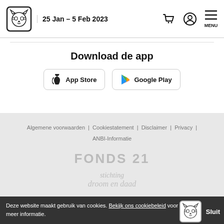25 Jan – 5 Feb 2023
Download de app
[Figure (illustration): App Store and Google Play download buttons]
Algemene voorwaarden | Cookiestatement | Disclaimer | Privacy | ANBI-Informatie
[Figure (logo): FONDS 21 logo text in gray]
[Figure (logo): stichting droom en daad logo text in gray]
Deze website maakt gebruik van cookies. Bekijk ons cookiebeleid voor meer informatie.